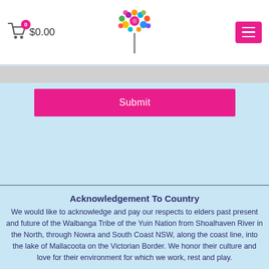0 $0.00 [logo] [menu]
[Figure (screenshot): Input bar (form field area, light gray background)]
[Figure (screenshot): Submit button, hot-pink background with white text 'Submit']
Acknowledgement To Country
We would like to acknowledge and pay our respects to elders past present and future of the Walbanga Tribe of the Yuin Nation from Shoalhaven River in the North, through Nowra and South Coast NSW, along the coast line, into the lake of Mallacoota on the Victorian Border. We honor their culture and love for their environment for which we work, rest and play.